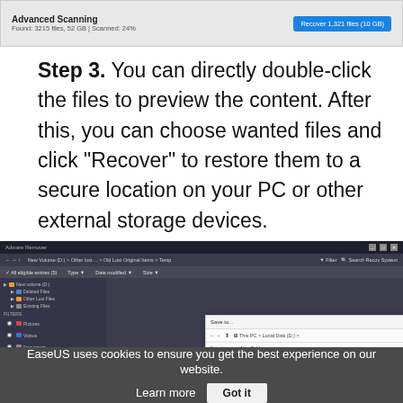[Figure (screenshot): Screenshot of Advanced Scanning software interface showing scanning progress bar and a blue Recover button]
Step 3. You can directly double-click the files to preview the content. After this, you can choose wanted files and click "Recover" to restore them to a secure location on your PC or other external storage devices.
[Figure (screenshot): Screenshot of data recovery software showing file browser with folder icons including AutoSaveScam, data, DRRECOVER, EaseUS software, File Lock Pro, FileHistory, iCopysoft in top row and lst, LostMyFile, MobileFile, pool, test, XWind in bottom row]
EaseUS uses cookies to ensure you get the best experience on our website.   Learn more   Got it